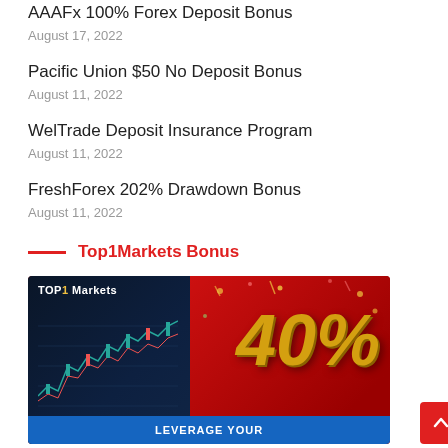AAAFx 100% Forex Deposit Bonus
August 17, 2022
Pacific Union $50 No Deposit Bonus
August 11, 2022
WelTrade Deposit Insurance Program
August 11, 2022
FreshForex 202% Drawdown Bonus
August 11, 2022
Top1Markets Bonus
[Figure (photo): Top1 Markets broker promotional banner showing a trading app on smartphone alongside large gold 40% text on a red background, with a blue button at the bottom reading 'LEVERAGE YOUR']